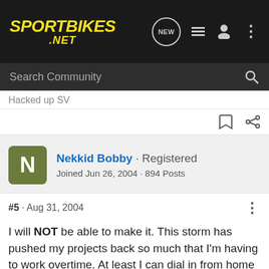[Figure (logo): Sportbikes.NET logo in yellow italic bold text on dark background, with navigation icons (NEW chat bubble, list, user, dots menu)]
Search Community
Hacked up SV
Nekkid Bobby · Registered
Joined Jun 26, 2004 · 894 Posts
#5 · Aug 31, 2004
I will NOT be able to make it. This storm has pushed my projects back so much that I'm having to work overtime. At least I can dial in from home at work in the comfort of my boxer shorts and a cold beer! 🙂